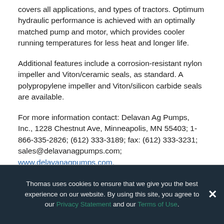covers all applications, and types of tractors. Optimum hydraulic performance is achieved with an optimally matched pump and motor, which provides cooler running temperatures for less heat and longer life.
Additional features include a corrosion-resistant nylon impeller and Viton/ceramic seals, as standard. A polypropylene impeller and Viton/silicon carbide seals are available.
For more information contact: Delavan Ag Pumps, Inc., 1228 Chestnut Ave, Minneapolis, MN 55403; 1-866-335-2826; (612) 333-3189; fax: (612) 333-3231; sales@delavanagpumps.com; www.delavanagpumps.com.
Thomas uses cookies to ensure that we give you the best experience on our website. By using this site, you agree to our Privacy Statement and our Terms of Use.